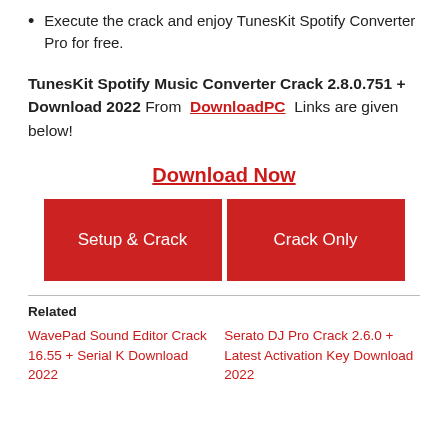Execute the crack and enjoy TunesKit Spotify Converter Pro for free.
TunesKit Spotify Music Converter Crack 2.8.0.751 + Download 2022 From DownloadPC Links are given below!
Download Now
[Figure (other): Two red download buttons labeled 'Setup & Crack' and 'Crack Only']
Related
WavePad Sound Editor Crack 16.55 + Serial K Download 2022
Serato DJ Pro Crack 2.6.0 + Latest Activation Key Download 2022